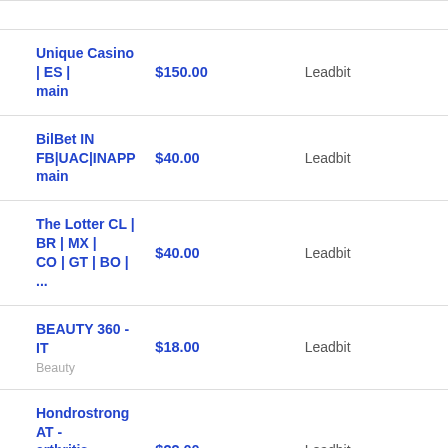| Offer | Price | Network |
| --- | --- | --- |
| Unique Casino | ES | main | $150.00 | Leadbit |
| BilBet IN FB|UAC|INAPP main | $40.00 | Leadbit |
| The Lotter CL | BR | MX | CO | GT | BO | ... | $40.00 | Leadbit |
| BEAUTY 360 - IT
Beauty | $18.00 | Leadbit |
| Hondrostrong AT - arthritis product
Health | $22.00 | Leadbit |
| Slimy Liquid - SS - DE/AT/CH - Diet | $58.50 | Leadbit |